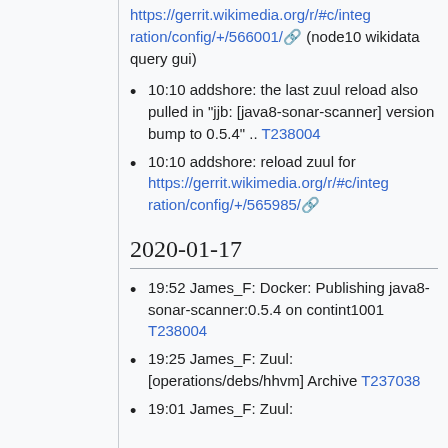https://gerrit.wikimedia.org/r/#c/integration/config/+/566001/ (node10 wikidata query gui)
10:10 addshore: the last zuul reload also pulled in "jjb: [java8-sonar-scanner] version bump to 0.5.4" .. T238004
10:10 addshore: reload zuul for https://gerrit.wikimedia.org/r/#c/integration/config/+/565985/
2020-01-17
19:52 James_F: Docker: Publishing java8-sonar-scanner:0.5.4 on contint1001 T238004
19:25 James_F: Zuul: [operations/debs/hhvm] Archive T237038
19:01 James_F: Zuul: